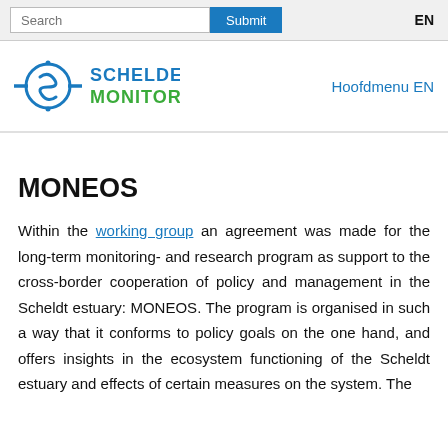Search  Submit  EN
[Figure (logo): Schelde Monitor logo with stylized S icon in blue and green text reading SCHELDE MONITOR]
Hoofdmenu EN
MONEOS
Within the working group an agreement was made for the long-term monitoring- and research program as support to the cross-border cooperation of policy and management in the Scheldt estuary: MONEOS. The program is organised in such a way that it conforms to policy goals on the one hand, and offers insights in the ecosystem functioning of the Scheldt estuary and effects of certain measures on the system. The